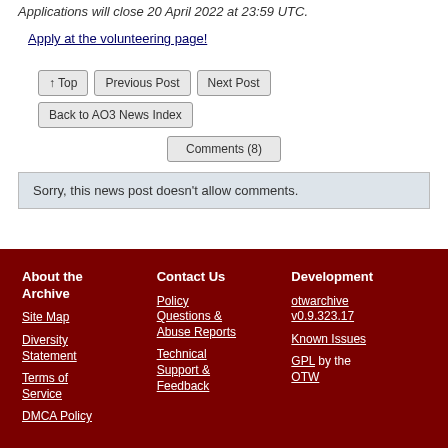Applications will close 20 April 2022 at 23:59 UTC.
Apply at the volunteering page!
↑ Top | Previous Post | Next Post | Back to AO3 News Index
Comments (8)
Sorry, this news post doesn't allow comments.
About the Archive | Site Map | Diversity Statement | Terms of Service | DMCA Policy | Contact Us | Policy Questions & Abuse Reports | Technical Support & Feedback | Development | otwarchive v0.9.323.17 | Known Issues | GPL by the OTW